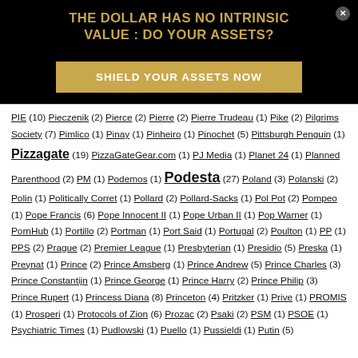THE DOLLAR HAS NO INTRINSIC VALUE : DO YOUR ASSETS?
SHIELD YOUR ASSETS NOW
PIE (10) Pieczenik (2) Pierce (2) Pierre (2) Pierre Trudeau (1) Pike (2) Pilgrims Society (7) Pimlico (1) Pinay (1) Pinheiro (1) Pinochet (5) Pittsburgh Penguin (1) Pizzagate (19) PizzaGateGear.com (1) PJ Media (1) Planet 24 (1) Planned Parenthood (2) PM (1) Podemos (1) Podesta (27) Poland (3) Polanski (2) Polin (1) Politically Corret (1) Pollard (2) Pollard-Sacks (1) Pol Pot (2) Pompeo (1) Pope Francis (6) Pope Innocent II (1) Pope Urban II (1) Pop Warner (1) PornHub (1) Portillo (2) Portman (1) Port Said (1) Portugal (2) Poulton (1) PP (1) PPS (2) Prague (2) Premier League (1) Presbyterian (1) Presidio (5) Preska (1) Preynat (1) Prince (2) Prince Amsberg (1) Prince Andrew (5) Prince Charles (3) Prince Constantijn (1) Prince George (1) Prince Harry (2) Prince Philip (3) Prince Rupert (1) Princess Diana (8) Princeton (4) Pritzker (1) Prive (1) PROMIS (1) Prosperi (1) Protocols of Zion (6) Prozac (2) Psaki (2) PSM (1) PSOE (1) Psychiatric Times (1) Pudlowski (1) Puello (1) Pussieldi (1) Putin (5)